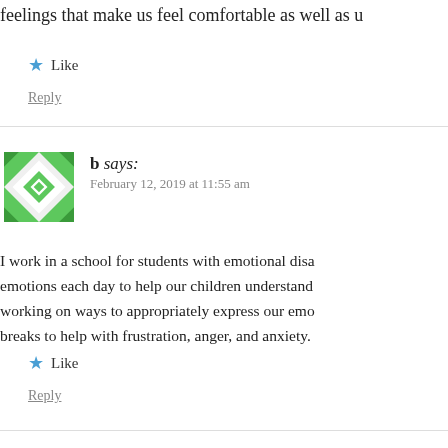feelings that make us feel comfortable as well as u…
Like
Reply
b says:
February 12, 2019 at 11:55 am
I work in a school for students with emotional disa… emotions each day to help our children understand… working on ways to appropriately express our emo… breaks to help with frustration, anger, and anxiety.
Like
Reply